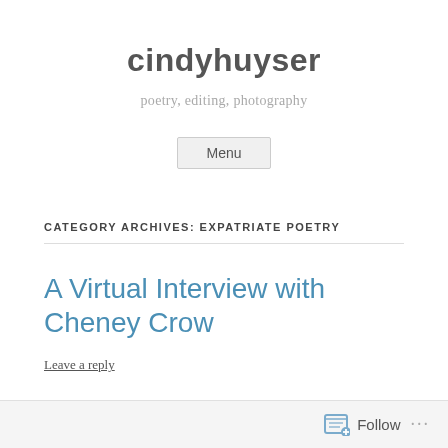cindyhuyser
poetry, editing, photography
Menu
CATEGORY ARCHIVES: EXPATRIATE POETRY
A Virtual Interview with Cheney Crow
Leave a reply
Poet Cheney G. Crow will be the featured reader on
Follow ...